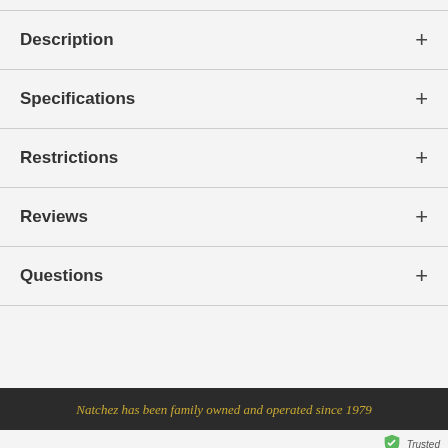Description
Specifications
Restrictions
Reviews
Questions
Natchez has been family owned and operated since 1979